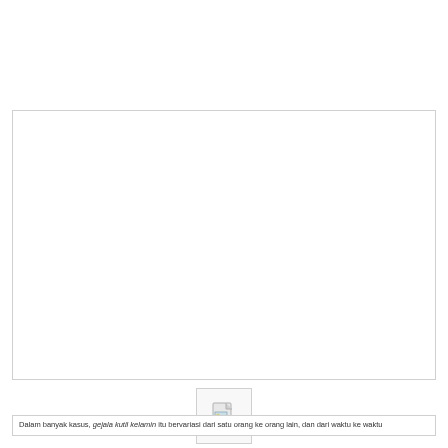obat herbal kutil kelamin untuk wanita
[Figure (photo): Large white/empty image box with broken image placeholder, representing a medical herbal product image that failed to load]
[Figure (photo): Small broken image icon thumbnail]
Dalam banyak kasus, gejala kutil kelamin itu bervariasi dari satu orang ke orang lain, dan dari waktu ke waktu